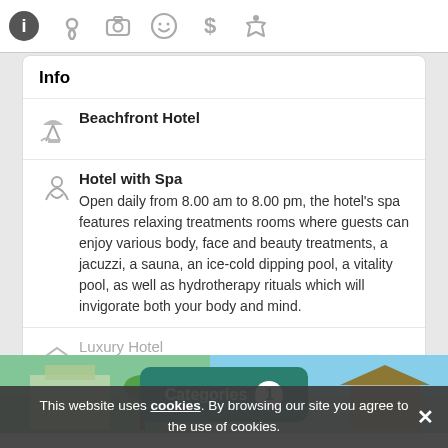[Figure (screenshot): Top navigation icon bar with info, location, camera, smiley, dollar, and accessibility icons]
Info
Beachfront Hotel
Hotel with Spa
Open daily from 8.00 am to 8.00 pm, the hotel's spa features relaxing treatments rooms where guests can enjoy various body, face and beauty treatments, a jacuzzi, a sauna, an ice-cold dipping pool, a vitality pool, as well as hydrotherapy rituals which will invigorate both your body and mind.
Luxury Hotel
Show more
[Figure (photo): Hotel exterior photos showing building with palm trees and beach area]
Categories 1
This website uses cookies. By browsing our site you agree to the use of cookies.